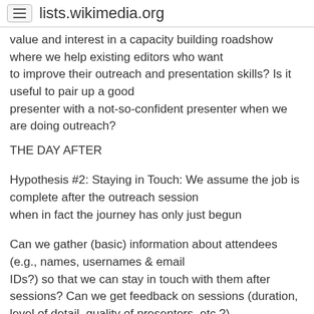lists.wikimedia.org
value and interest in a capacity building roadshow where we help existing editors who want to improve their outreach and presentation skills? Is it useful to pair up a good presenter with a not-so-confident presenter when we are doing outreach?
THE DAY AFTER
Hypothesis #2: Staying in Touch: We assume the job is complete after the outreach session when in fact the journey has only just begun
Can we gather (basic) information about attendees (e.g., names, usernames & email IDs?) so that we can stay in touch with them after sessions? Can we get feedback on sessions (duration, level of detail, quality of presenters, etc.?) so that we can all improve? Do we need some sort of CRM solution for this or will something like Google Docs suffice?